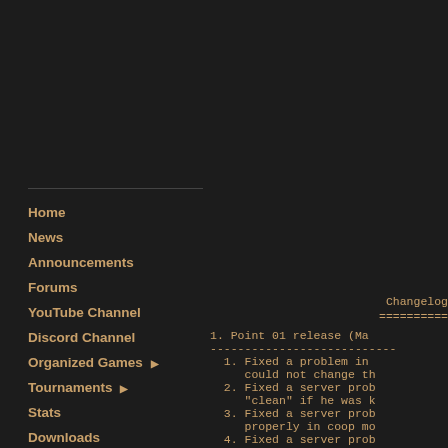Home
News
Announcements
Forums
YouTube Channel
Discord Channel
Organized Games ▶
Tournaments ▶
Stats
Downloads
Maps ▶
Information ▶
Changelog
=========
1. Point 01 release (Ma
---------------------------
  1. Fixed a problem in
     could not change th
  2. Fixed a server prob
     "clean" if he was k
  3. Fixed a server prob
     properly in coop mo
  4. Fixed a server prob
     connection with a t
  5. Improved a bit the